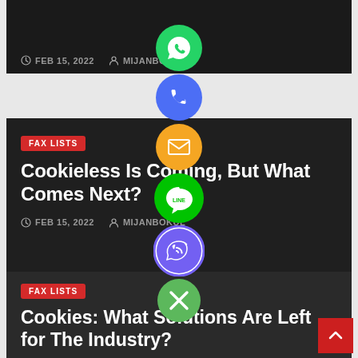[Figure (screenshot): Partial dark blog card showing date FEB 15, 2022 and author MIJANBOKUL]
FEB 15, 2022   MIJANBOKUL
[Figure (infographic): Social media sharing buttons column: WhatsApp (green), Phone/Call (blue), Email (orange), LINE (green), Viber (purple), Close/X (green)]
[Figure (screenshot): Dark blog card with FAX LISTS badge, title: Cookieless Is Coming, But What Comes Next?, date FEB 15, 2022 and author MIJANBOKUL]
FAX LISTS
Cookieless Is Coming, But What Comes Next?
FEB 15, 2022   MIJANBOKUL
[Figure (screenshot): Partial dark blog card with FAX LISTS badge and title: Cookies: What Solutions Are Left for The Industry?]